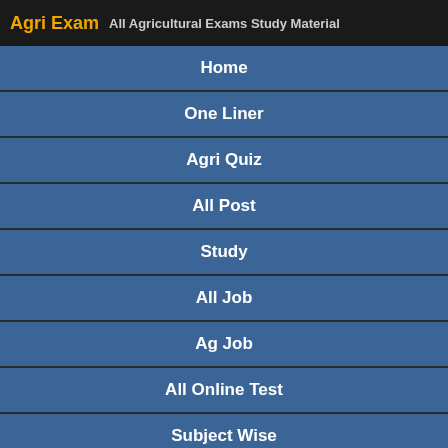Agri Exam  All Agricultural Exams Study Material
Home
One Liner
Agri Quiz
All Post
Study
All Job
Ag Job
All Online Test
Subject Wise
What's New
Agri